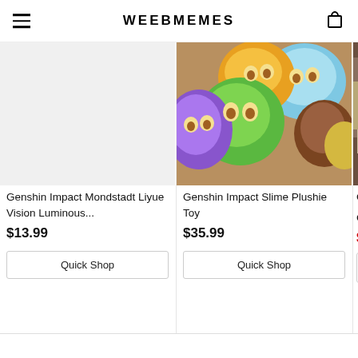WEEBMEMES
[Figure (photo): Gray placeholder product image for Genshin Impact Mondstadt Liyue Vision Luminous product]
Genshin Impact Mondstadt Liyue Vision Luminous...
$13.99
Quick Shop
[Figure (photo): Photo of multiple Genshin Impact Slime Plushie Toys in various colors: purple, green, orange, blue, brown, yellow]
Genshin Impact Slime Plushie Toy
$35.99
Quick Shop
[Figure (photo): Partial photo of a Genshin Impact character cosplay figure, partially cut off on the right edge]
Genshi Charac
$24.9